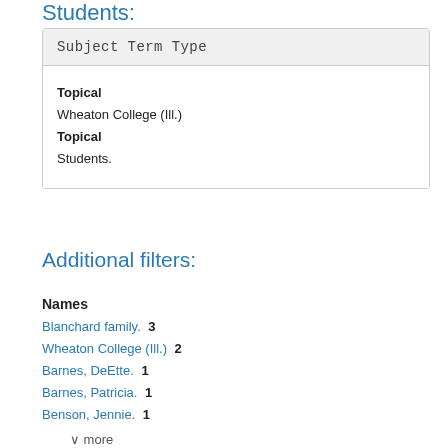Students:
| Subject Term Type |
| --- |
| Topical | Wheaton College (Ill.) | Topical | Students. |
Additional filters:
Names
Blanchard family.  3
Wheaton College (Ill.)  2
Barnes, DeEtte.  1
Barnes, Patricia.  1
Benson, Jennie.  1
∨ more